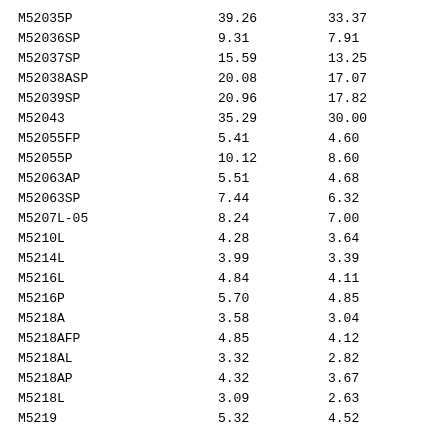| M52035P | 39.26 | 33.37 |
| M52036SP | 9.31 | 7.91 |
| M52037SP | 15.59 | 13.25 |
| M52038ASP | 20.08 | 17.07 |
| M52039SP | 20.96 | 17.82 |
| M52043 | 35.29 | 30.00 |
| M52055FP | 5.41 | 4.60 |
| M52055P | 10.12 | 8.60 |
| M52063AP | 5.51 | 4.68 |
| M52063SP | 7.44 | 6.32 |
| M5207L-05 | 8.24 | 7.00 |
| M5210L | 4.28 | 3.64 |
| M5214L | 3.99 | 3.39 |
| M5216L | 4.84 | 4.11 |
| M5216P | 5.70 | 4.85 |
| M5218A | 3.58 | 3.04 |
| M5218AFP | 4.85 | 4.12 |
| M5218AL | 3.32 | 2.82 |
| M5218AP | 4.32 | 3.67 |
| M5218L | 3.09 | 2.63 |
| M5219 | 5.32 | 4.52 |